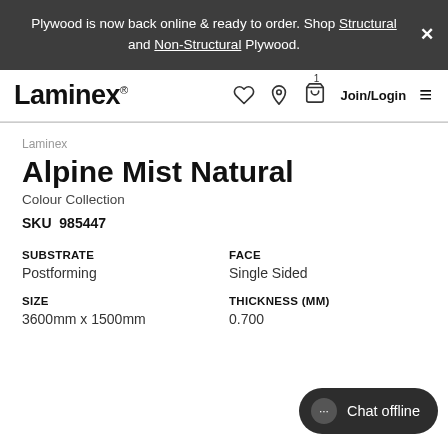Plywood is now back online & ready to order. Shop Structural and Non-Structural Plywood.
[Figure (logo): Laminex logo with navigation icons (heart, location pin, basket with count 1, Join/Login, hamburger menu)]
Laminex
Alpine Mist Natural
Colour Collection
SKU  985447
| SUBSTRATE | FACE |
| --- | --- |
| Postforming | Single Sided |
| SIZE | THICKNESS (MM) |
| --- | --- |
| 3600mm x 1500mm | 0.700 |